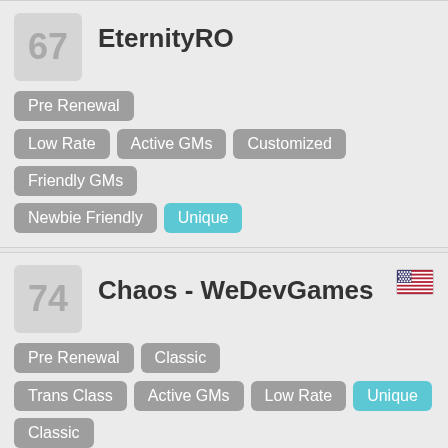67 EternityRO
Tags: Pre Renewal, Low Rate, Active GMs, Customized, Friendly GMs, Newbie Friendly, Unique
74 Chaos - WeDevGames (US flag)
Tags: Pre Renewal, Classic, Trans Class, Active GMs, Low Rate, Unique, Classic, Competitive
77 AQUA RAGNAROK